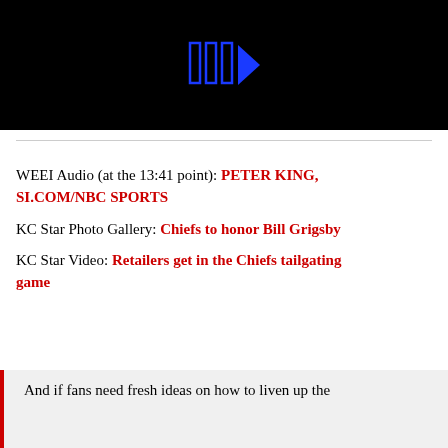[Figure (screenshot): Black video player with blue play button icon (three vertical bars and a triangle/arrow) centered on black background]
WEEI Audio (at the 13:41 point): PETER KING, SI.COM/NBC SPORTS
KC Star Photo Gallery: Chiefs to honor Bill Grigsby
KC Star Video: Retailers get in the Chiefs tailgating game
And if fans need fresh ideas on how to liven up the